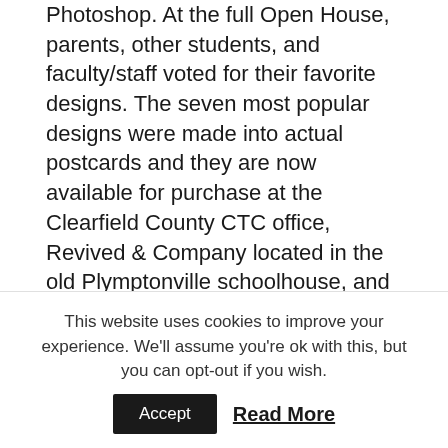Photoshop. At the full Open House, parents, other students, and faculty/staff voted for their favorite designs. The seven most popular designs were made into actual postcards and they are now available for purchase at the Clearfield County CTC office, Revived & Company located in the old Plymptonville schoolhouse, and Service Access & Management at 216 N 2nd St #3 in Clearfield. Packs of all seven designs are available for $5; individual postcards are $1 each. Proceeds from the project will go to the Digital Media Arts student activity fund and help offset the cost of Adobe certifications for the students. To learn more about the opportunities for adults and high school students in the Digital Media Arts program at CCCTC, visit us at
This website uses cookies to improve your experience. We'll assume you're ok with this, but you can opt-out if you wish.
Accept  Read More